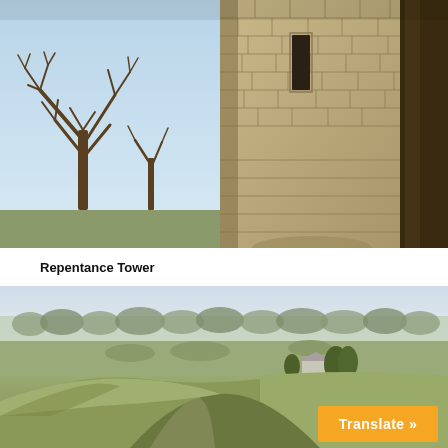[Figure (photo): Outdoor winter scene: bare tree on left under pale blue sky, large stone tower (Repentance Tower) in center-right with rough masonry and narrow window slit, dark tree trunk on far right.]
Repentance Tower
[Figure (photo): Wide landscape view of grassy earthwork mounds and ditches in a flat field, trees visible on misty horizon, a small structure in the middle distance.]